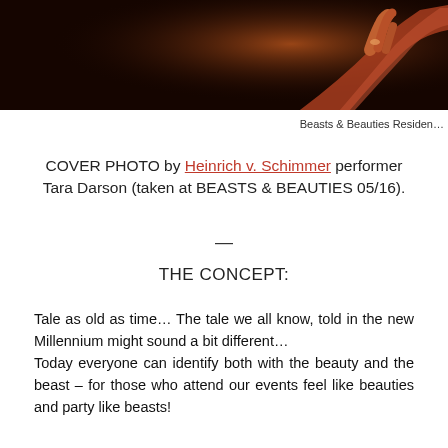[Figure (photo): Dark atmospheric photo showing a hand/arm of a performer against a dark reddish-orange background, part of a performance photo]
Beasts & Beauties Residen…
COVER PHOTO by Heinrich v. Schimmer performer Tara Darson (taken at BEASTS & BEAUTIES 05/16).
—
THE CONCEPT:
Tale as old as time… The tale we all know, told in the new Millennium might sound a bit different… Today everyone can identify both with the beauty and the beast – for those who attend our events feel like beauties and party like beasts!